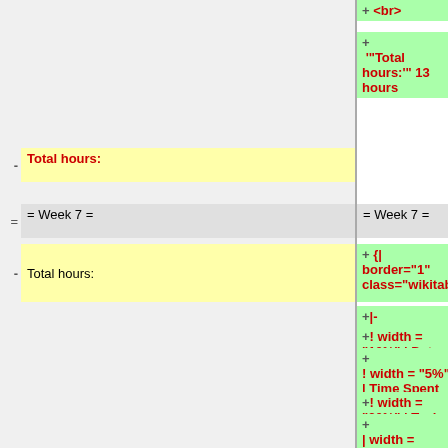+ <br>
+ '"Total hours:'" 13 hours
- Total hours:
= Week 7 =
- Total hours:
+ {| border="1" class="wikitable"
+ |-
+ ! width = "10%" | Date
+ ! width = "5%" | Time Spent
+ ! width = "20%" | Task
+ | width = "50%" | Description
+ |-
+ | 16-Oct
+ | 1.5
+ | Readablility
+ | Worked on making the wiki readable by adding headers, the...